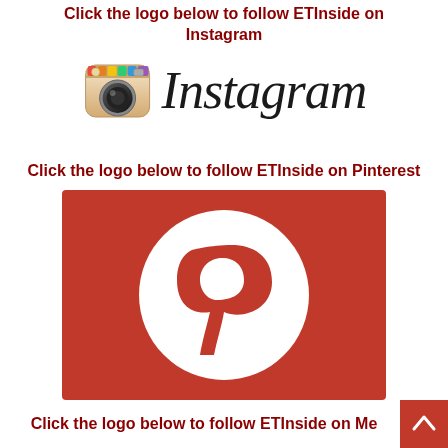Click the logo below to follow ETInside on Instagram
[Figure (logo): Instagram logo with camera icon and Instagram wordmark in cursive]
Click the logo below to follow ETInside on Pinterest
[Figure (logo): Pinterest logo: red rectangle background with white circle P icon]
Click the logo below to follow ETInside on Me...